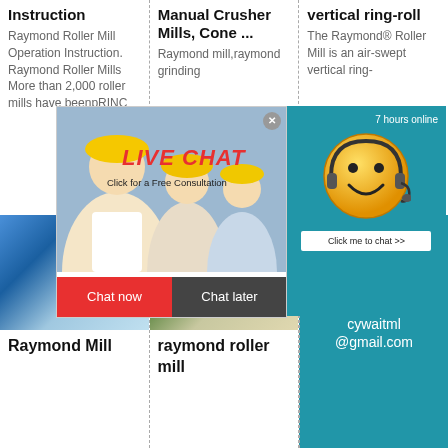Instruction
Raymond Roller Mill Operation Instruction. Raymond Roller Mills More than 2,000 roller mills have beenpRINC
Manual Crusher Mills, Cone ...
Raymond mill,raymond grinding
vertical ring-roll
The Raymond® Roller Mill is an air-swept vertical ring-
[Figure (screenshot): Live chat popup overlay with woman in hard hat, 'LIVE CHAT' text in red italic, 'Click for a Free Consultation', Chat now (red) and Chat later (dark) buttons, and a teal sidebar with smiley face mascot and '7 hours online', 'Click me to chat >>']
[Figure (photo): Industrial facility with blue steel structures and equipment]
Raymond Mill
[Figure (photo): Crushing/grinding operation with dust clouds and machinery]
raymond roller mill
Enquiry
cywaitml @gmail.com